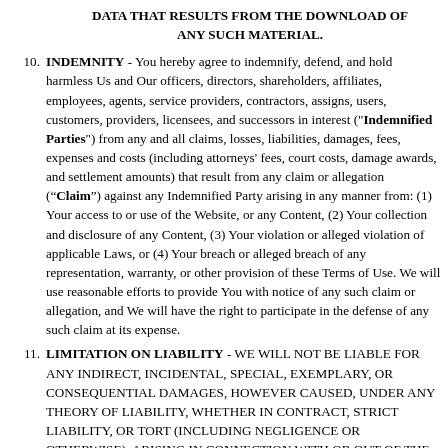DATA THAT RESULTS FROM THE DOWNLOAD OF ANY SUCH MATERIAL.
INDEMNITY - You hereby agree to indemnify, defend, and hold harmless Us and Our officers, directors, shareholders, affiliates, employees, agents, service providers, contractors, assigns, users, customers, providers, licensees, and successors in interest ("Indemnified Parties") from any and all claims, losses, liabilities, damages, fees, expenses and costs (including attorneys' fees, court costs, damage awards, and settlement amounts) that result from any claim or allegation (“Claim”) against any Indemnified Party arising in any manner from: (1) Your access to or use of the Website, or any Content, (2) Your collection and disclosure of any Content, (3) Your violation or alleged violation of applicable Laws, or (4) Your breach or alleged breach of any representation, warranty, or other provision of these Terms of Use. We will use reasonable efforts to provide You with notice of any such claim or allegation, and We will have the right to participate in the defense of any such claim at its expense.
LIMITATION ON LIABILITY - WE WILL NOT BE LIABLE FOR ANY INDIRECT, INCIDENTAL, SPECIAL, EXEMPLARY, OR CONSEQUENTIAL DAMAGES, HOWEVER CAUSED, UNDER ANY THEORY OF LIABILITY, WHETHER IN CONTRACT, STRICT LIABILITY, OR TORT (INCLUDING NEGLIGENCE OR OTHERWISE), ARISING IN CONNECTION WITH OR OUT OF THE ACCESS TO OR USE OF THE WEBSITE OR CONTENT, EVEN IF